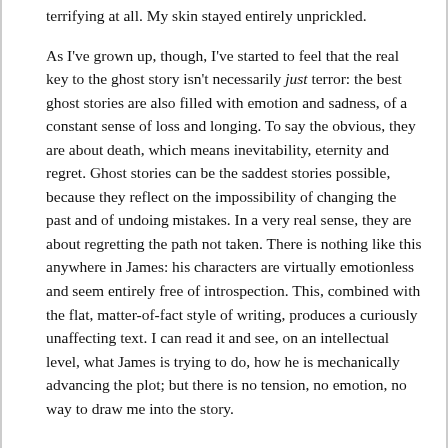terrifying at all. My skin stayed entirely unprickled.
As I've grown up, though, I've started to feel that the real key to the ghost story isn't necessarily just terror: the best ghost stories are also filled with emotion and sadness, of a constant sense of loss and longing. To say the obvious, they are about death, which means inevitability, eternity and regret. Ghost stories can be the saddest stories possible, because they reflect on the impossibility of changing the past and of undoing mistakes. In a very real sense, they are about regretting the path not taken. There is nothing like this anywhere in James: his characters are virtually emotionless and seem entirely free of introspection. This, combined with the flat, matter-of-fact style of writing, produces a curiously unaffecting text. I can read it and see, on an intellectual level, what James is trying to do, how he is mechanically advancing the plot; but there is no tension, no emotion, no way to draw me into the story.